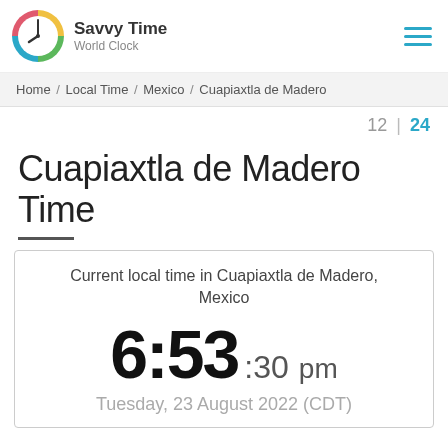Savvy Time World Clock
Home / Local Time / Mexico / Cuapiaxtla de Madero
12 | 24
Cuapiaxtla de Madero Time
Current local time in Cuapiaxtla de Madero, Mexico
6:53 :30 pm
Tuesday, 23 August 2022 (CDT)